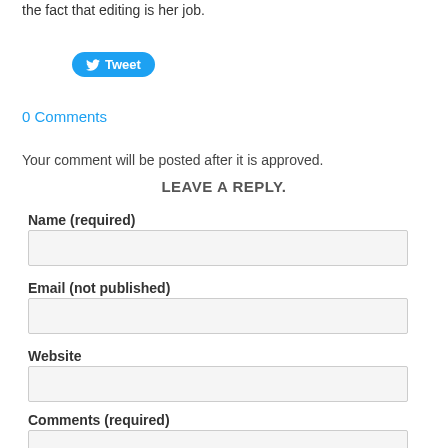the fact that editing is her job.
[Figure (other): Twitter Tweet button]
0 Comments
Your comment will be posted after it is approved.
LEAVE A REPLY.
Name (required)
Email (not published)
Website
Comments (required)